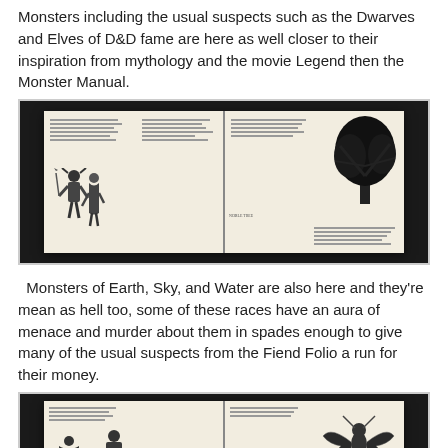Monsters including the usual suspects such as the Dwarves and Elves of D&D fame are here as well closer to their inspiration from mythology and the movie Legend then the Monster Manual.
[Figure (photo): Photograph of an open book showing illustrated monster entries with drawings of fantasy characters and a tree illustration on the right page.]
Monsters of Earth, Sky, and Water are also here and they're mean as hell too, some of these races have an aura of menace and murder about them in spades enough to give many of the usual suspects from the Fiend Folio a run for their money.
[Figure (photo): Photograph of an open book showing illustrated monster entries with drawings of a warrior figure and a winged creature on the right page.]